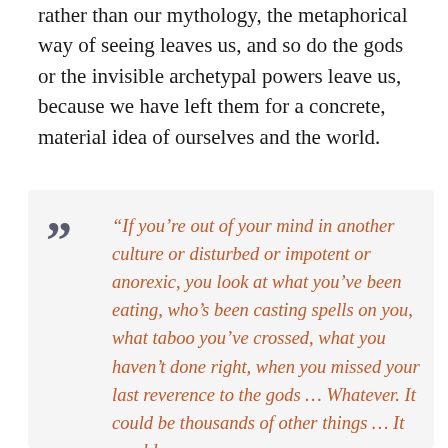rather than our mythology, the metaphorical way of seeing leaves us, and so do the gods or the invisible archetypal powers leave us, because we have left them for a concrete, material idea of ourselves and the world.
“If you’re out of your mind in another culture or disturbed or impotent or anorexic, you look at what you’ve been eating, who’s been casting spells on you, what taboo you’ve crossed, what you haven’t done right, when you missed your last reverence to the gods … Whatever. It could be thousands of other things … It would